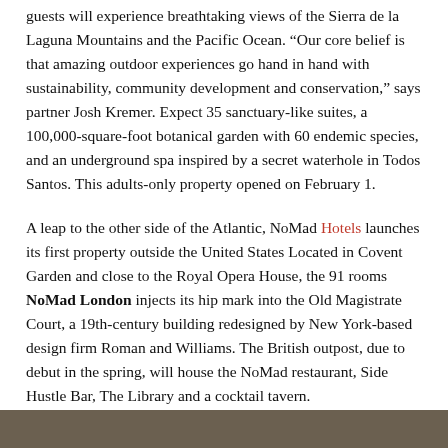guests will experience breathtaking views of the Sierra de la Laguna Mountains and the Pacific Ocean. “Our core belief is that amazing outdoor experiences go hand in hand with sustainability, community development and conservation,” says partner Josh Kremer. Expect 35 sanctuary-like suites, a 100,000-square-foot botanical garden with 60 endemic species, and an underground spa inspired by a secret waterhole in Todos Santos. This adults-only property opened on February 1.
A leap to the other side of the Atlantic, NoMad Hotels launches its first property outside the United States Located in Covent Garden and close to the Royal Opera House, the 91 rooms NoMad London injects its hip mark into the Old Magistrate Court, a 19th-century building redesigned by New York-based design firm Roman and Williams. The British outpost, due to debut in the spring, will house the NoMad restaurant, Side Hustle Bar, The Library and a cocktail tavern.
[Figure (photo): Bottom portion of an interior or architectural photo, showing a warm brown/tan colored background at the very bottom edge of the page.]